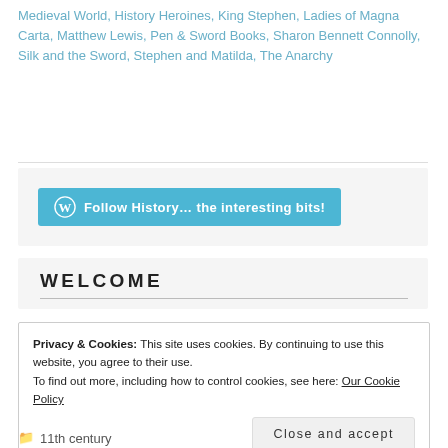Medieval World, History Heroines, King Stephen, Ladies of Magna Carta, Matthew Lewis, Pen & Sword Books, Sharon Bennett Connolly, Silk and the Sword, Stephen and Matilda, The Anarchy
[Figure (other): Follow History... the interesting bits! button with WordPress logo on teal/blue background]
WELCOME
Privacy & Cookies: This site uses cookies. By continuing to use this website, you agree to their use.
To find out more, including how to control cookies, see here: Our Cookie Policy
Close and accept
11th century